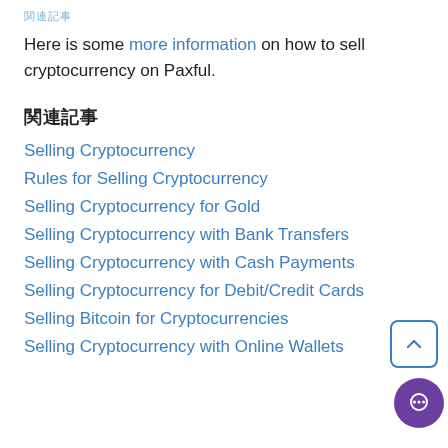関連記事
Here is some more information on how to sell cryptocurrency on Paxful.
関連記事
Selling Cryptocurrency
Rules for Selling Cryptocurrency
Selling Cryptocurrency for Gold
Selling Cryptocurrency with Bank Transfers
Selling Cryptocurrency with Cash Payments
Selling Cryptocurrency for Debit/Credit Cards
Selling Bitcoin for Cryptocurrencies
Selling Cryptocurrency with Online Wallets